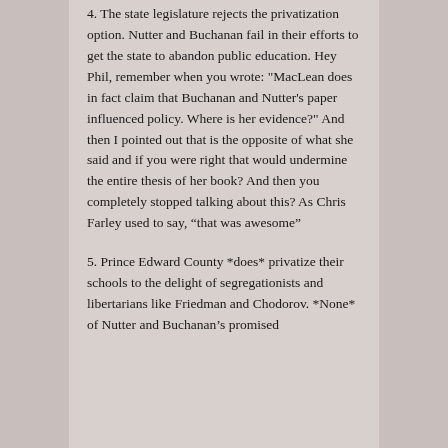4. The state legislature rejects the privatization option. Nutter and Buchanan fail in their efforts to get the state to abandon public education. Hey Phil, remember when you wrote: "MacLean does in fact claim that Buchanan and Nutter's paper influenced policy. Where is her evidence?" And then I pointed out that is the opposite of what she said and if you were right that would undermine the entire thesis of her book? And then you completely stopped talking about this? As Chris Farley used to say, “that was awesome”
5. Prince Edward County *does* privatize their schools to the delight of segregationists and libertarians like Friedman and Chodorov. *None* of Nutter and Buchanan’s promised